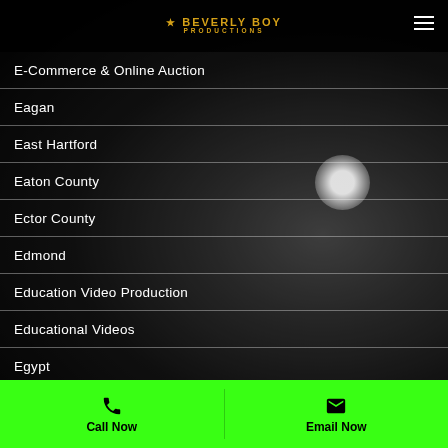Beverly Boy Productions
E-Commerce & Online Auction
Eagan
East Hartford
Eaton County
Ector County
Edmond
Education Video Production
Educational Videos
Egypt
El
El Paso County TX
Call Now | Email Now